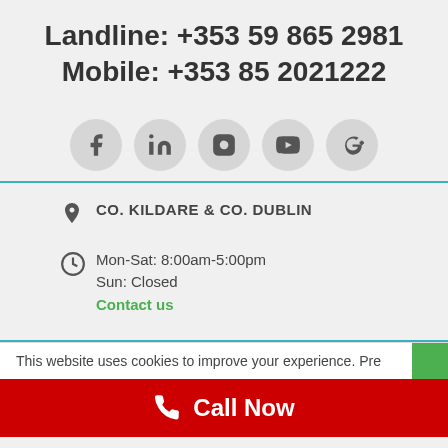Landline: +353 59 865 2981
Mobile: +353 85 2021222
[Figure (infographic): Five social media icons in circular grey buttons: Facebook, LinkedIn, Instagram, YouTube, Google+]
CO. KILDARE & CO. DUBLIN
Mon-Sat: 8:00am-5:00pm
Sun: Closed
Contact us
This website uses cookies to improve your experience. Pre
Call Now